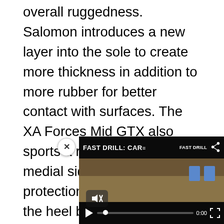overall ruggedness. Salomon introduces a new layer into the sole to create more thickness in addition to more rubber for better contact with surfaces. The XA Forces Mid GTX also sports a rubber pad on the medial side for increased protection while a break in the heel better supports climbing, the company says. Saloman finishes off the internal and external improvements with a roomier toe box, adding more toe space than previous versions.
The XA Forces Mid GTX w... GORE-TEX and non-GOR... variant supplies more colo... brown, and ranger green) ... TEX model applies its fea...
[Figure (screenshot): Video overlay showing 'FAST DRILL: CAR...' with video player controls including mute button, play button, progress bar showing 0:00, and fullscreen button. The video appears to show a shooting drill scene with targets.]